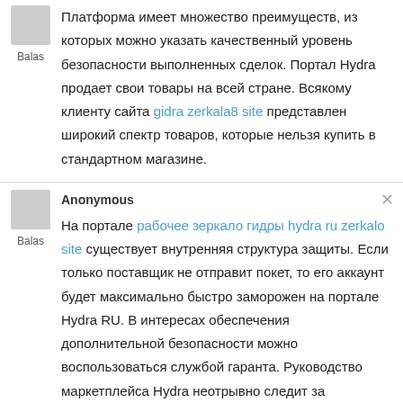Платформа имеет множество преимуществ, из которых можно указать качественный уровень безопасности выполненных сделок. Портал Hydra продает свои товары на всей стране. Всякому клиенту сайта gidra zerkala8 site представлен широкий спектр товаров, которые нельзя купить в стандартном магазине.
Anonymous
На портале рабочее зеркало гидры hydra ru zerkalo site существует внутренняя структура защиты. Если только поставщик не отправит покет, то его аккаунт будет максимально быстро заморожен на портале Hydra RU. В интересах обеспечения дополнительной безопасности можно воспользоваться службой гаранта. Руководство маркетплейса Hydra неотрывно следит за правомерным осуществлением проходящих контрактов.